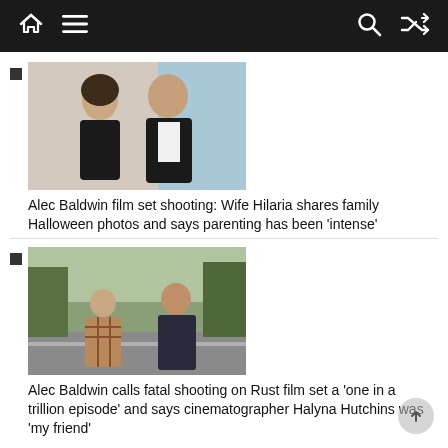Navigation bar with home, menu, search, shuffle icons
[Figure (photo): Photo of a woman and Alec Baldwin standing together at an event, both wearing dark clothing, blue backdrop behind them]
Alec Baldwin film set shooting: Wife Hilaria shares family Halloween photos and says parenting has been 'intense'
[Figure (photo): Photo of a woman in a plaid coat and Alec Baldwin in a dark jacket standing outdoors on a road with trees in background]
Alec Baldwin calls fatal shooting on Rust film set a 'one in a trillion episode' and says cinematographer Halyna Hutchins was 'my friend'